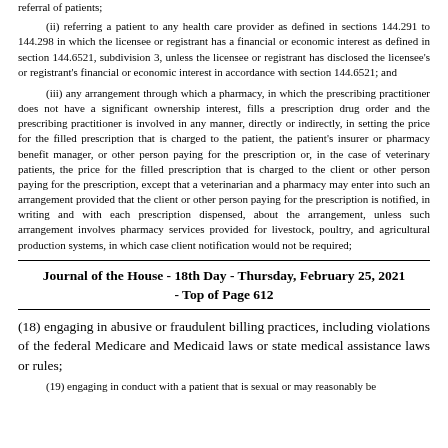referral of patients;
(ii) referring a patient to any health care provider as defined in sections 144.291 to 144.298 in which the licensee or registrant has a financial or economic interest as defined in section 144.6521, subdivision 3, unless the licensee or registrant has disclosed the licensee's or registrant's financial or economic interest in accordance with section 144.6521; and
(iii) any arrangement through which a pharmacy, in which the prescribing practitioner does not have a significant ownership interest, fills a prescription drug order and the prescribing practitioner is involved in any manner, directly or indirectly, in setting the price for the filled prescription that is charged to the patient, the patient's insurer or pharmacy benefit manager, or other person paying for the prescription or, in the case of veterinary patients, the price for the filled prescription that is charged to the client or other person paying for the prescription, except that a veterinarian and a pharmacy may enter into such an arrangement provided that the client or other person paying for the prescription is notified, in writing and with each prescription dispensed, about the arrangement, unless such arrangement involves pharmacy services provided for livestock, poultry, and agricultural production systems, in which case client notification would not be required;
Journal of the House - 18th Day - Thursday, February 25, 2021 - Top of Page 612
(18) engaging in abusive or fraudulent billing practices, including violations of the federal Medicare and Medicaid laws or state medical assistance laws or rules;
(19) engaging in conduct with a patient that is sexual or may reasonably be